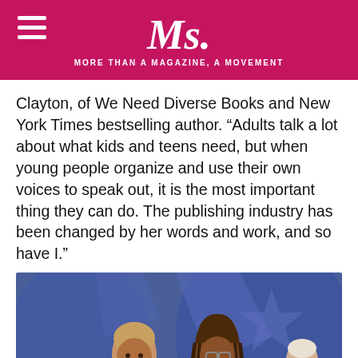Ms. MORE THAN A MAGAZINE, A MOVEMENT
Clayton, of We Need Diverse Books and New York Times bestselling author. “Adults talk a lot about what kids and teens need, but when young people organize and use their own voices to speak out, it is the most important thing they can do. The publishing industry has been changed by her words and work, and so have I.”
[Figure (photo): Two Black women smiling and laughing on a stage, one wearing an orange top, the other wearing a patterned dress with braids and glasses. A microphone stand is visible in the foreground, and a man in a suit is partially visible in the background.]